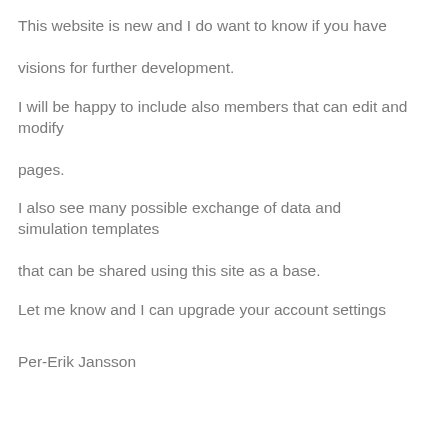This website is new and I do want to know if you have visions for further development.
I will be happy to include also members that can edit and modify pages.
I also see many possible exchange of data and simulation templates that can be shared using this site as a base.
Let me know and I can upgrade your account settings
Per-Erik Jansson